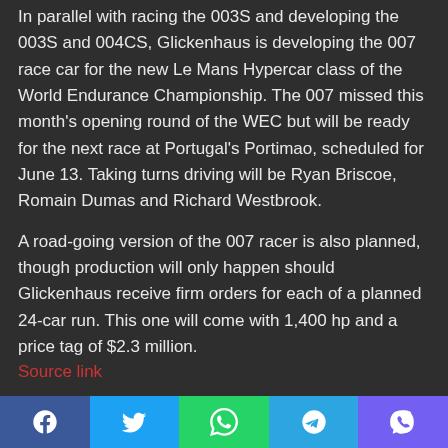In parallel with racing the 003S and developing the 003S and 004CS, Glickenhaus is developing the 007 race car for the new Le Mans Hypercar class of the World Endurance Championship. The 007 missed this month's opening round of the WEC but will be ready for the next race at Portugal's Portimao, scheduled for June 13. Taking turns driving will be Ryan Briscoe, Romain Dumas and Richard Westbrook.
A road-going version of the 007 racer is also planned, though production will only happen should Glickenhaus receive firm orders for each of a planned 24-car run. This one will come with 1,400 hp and a price tag of $2.3 million.
Source link
#004S
#closer
#completion
#crash
Facebook | Twitter | WhatsApp | Telegram | Viber